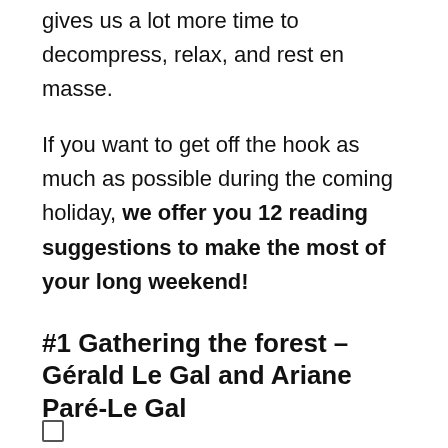gives us a lot more time to decompress, relax, and rest en masse.
If you want to get off the hook as much as possible during the coming holiday, we offer you 12 reading suggestions to make the most of your long weekend!
#1 Gathering the forest – Gérald Le Gal and Ariane Paré-Le Gal